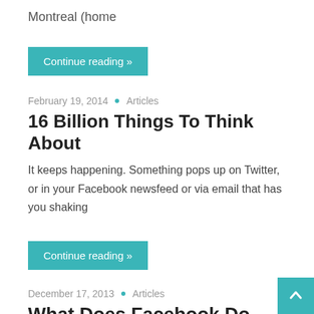Montreal (home
Continue reading »
February 19, 2014  •  Articles
16 Billion Things To Think About
It keeps happening. Something pops up on Twitter, or in your Facebook newsfeed or via email that has you shaking
Continue reading »
December 17, 2013  •  Articles
What Does Facebook Do Next?